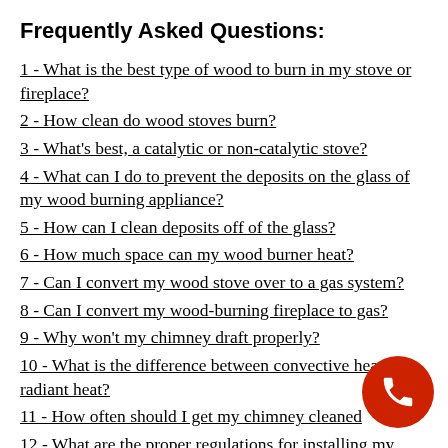Frequently Asked Questions:
1 - What is the best type of wood to burn in my stove or fireplace?
2 - How clean do wood stoves burn?
3 - What's best, a catalytic or non-catalytic stove?
4 - What can I do to prevent the deposits on the glass of my wood burning appliance?
5 - How can I clean deposits off of the glass?
6 - How much space can my wood burner heat?
7 - Can I convert my wood stove over to a gas system?
8 - Can I convert my wood-burning fireplace to gas?
9 - Why won't my chimney draft properly?
10 - What is the difference between convective heat and radiant heat?
11 - How often should I get my chimney cleaned?
12 - What are the proper regulations for installing my wood burning appliance?
[Figure (other): Red circular phone/call button icon in bottom right corner]